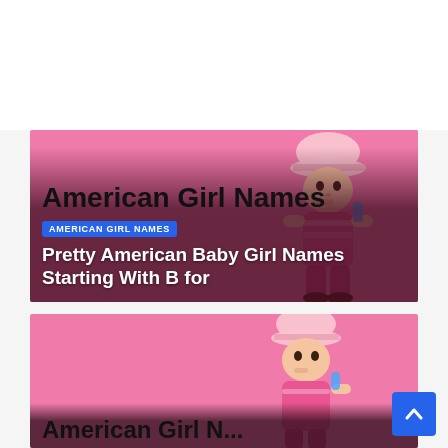[Figure (photo): Article card showing a baby girl in pink clothes and hat on a pink background, with title overlay 'American Girl Names' and subtitle 'Pretty American Baby Girl Names Starting With B for']
[Figure (photo): Partial second article card showing same baby image on pink background, partially cropped, with partial text 'American Girl Names' visible at bottom]